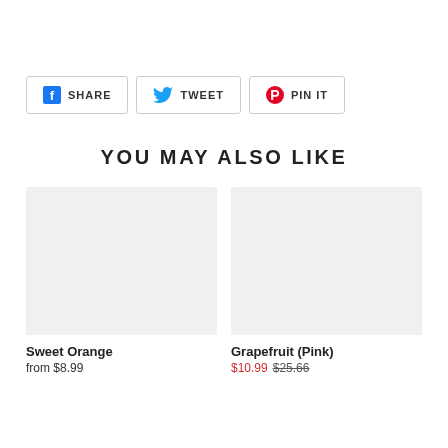[Figure (other): Social share buttons: SHARE (Facebook), TWEET (Twitter), PIN IT (Pinterest)]
YOU MAY ALSO LIKE
[Figure (photo): Product image placeholder for Sweet Orange]
Sweet Orange
from $8.99
[Figure (photo): Product image placeholder for Grapefruit (Pink)]
Grapefruit (Pink)
$10.99  $25.66